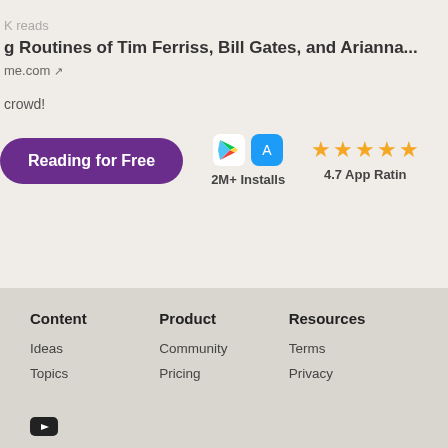K reads
g Routines of Tim Ferriss, Bill Gates, and Arianna...
me.com
crowd!
Reading for Free
2M+ Installs
4.7 App Rating
Content
Product
Resources
Ideas
Community
Terms
Topics
Pricing
Privacy